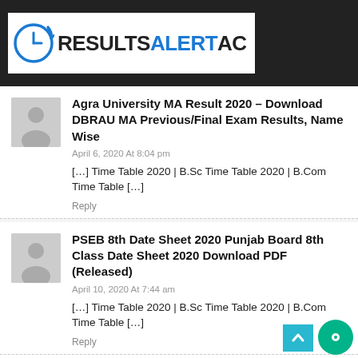[Figure (logo): ResultsAlertAC logo with clock icon on dark header bar]
Agra University MA Result 2020 – Download DBRAU MA Previous/Final Exam Results, Name Wise
April 6, 2020 At 8:04 pm
[…] Time Table 2020 | B.Sc Time Table 2020 | B.Com Time Table […]
Reply
PSEB 8th Date Sheet 2020 Punjab Board 8th Class Date Sheet 2020 Download PDF (Released)
April 10, 2020 At 7:44 am
[…] Time Table 2020 | B.Sc Time Table 2020 | B.Com Time Table […]
Reply